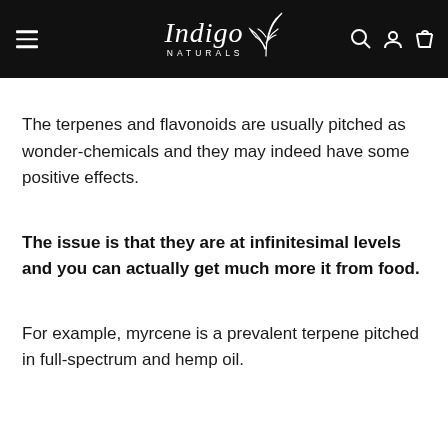Indigo Naturals
The terpenes and flavonoids are usually pitched as wonder-chemicals and they may indeed have some positive effects.
The issue is that they are at infinitesimal levels and you can actually get much more it from food.
For example, myrcene is a prevalent terpene pitched in full-spectrum and hemp oil.